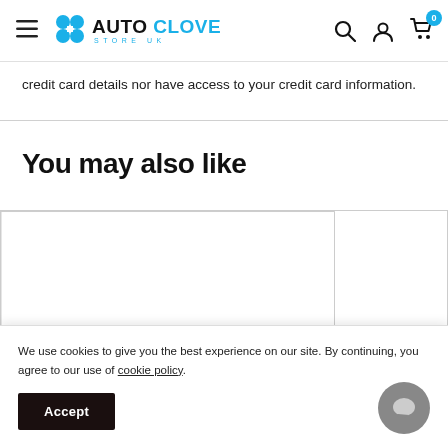AUTO CLOVER STORE UK
credit card details nor have access to your credit card information.
You may also like
[Figure (other): Two product card placeholders side by side (white rectangles with borders)]
We use cookies to give you the best experience on our site. By continuing, you agree to our use of cookie policy.